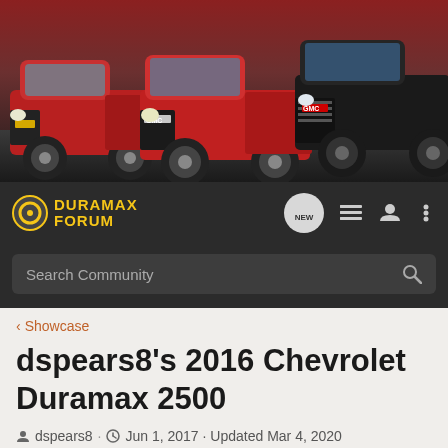[Figure (photo): Header banner showing three GMC/Chevrolet pickup trucks on a dark background — red Chevy Colorado, red GMC Sierra, and black GMC HD]
DURAMAX FORUM
Search Community
< Showcase
dspears8's 2016 Chevrolet Duramax 2500
dspears8 · Jun 1, 2017 · Updated Mar 4, 2020
+ Follow